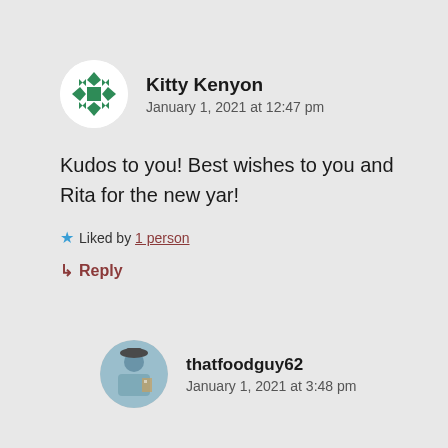[Figure (illustration): Circular avatar with white background showing a green geometric quilt-pattern star logo for user Kitty Kenyon]
Kitty Kenyon
January 1, 2021 at 12:47 pm
Kudos to you! Best wishes to you and Rita for the new yar!
★ Liked by 1 person
↳ Reply
[Figure (photo): Circular avatar photo of thatfoodguy62 showing a person in a blue shirt and hat outdoors]
thatfoodguy62
January 1, 2021 at 3:48 pm